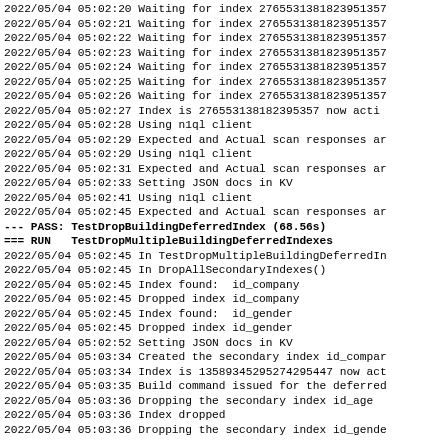2022/05/04 05:02:20 Waiting for index 27655313818239513...
2022/05/04 05:02:21 Waiting for index 27655313818239513...
2022/05/04 05:02:22 Waiting for index 27655313818239513...
2022/05/04 05:02:23 Waiting for index 27655313818239513...
2022/05/04 05:02:24 Waiting for index 27655313818239513...
2022/05/04 05:02:25 Waiting for index 27655313818239513...
2022/05/04 05:02:26 Waiting for index 27655313818239513...
2022/05/04 05:02:27 Index is 276553138182395357 now acti...
2022/05/04 05:02:28 Using n1ql client
2022/05/04 05:02:29 Expected and Actual scan responses a...
2022/05/04 05:02:29 Using n1ql client
2022/05/04 05:02:31 Expected and Actual scan responses a...
2022/05/04 05:02:33 Setting JSON docs in KV
2022/05/04 05:02:41 Using n1ql client
2022/05/04 05:02:45 Expected and Actual scan responses a...
--- PASS: TestDropBuildingDeferredIndex (68.56s)
=== RUN   TestDropMultipleBuildingDeferredIndexes
2022/05/04 05:02:45 In TestDropMultipleBuildingDeferredI...
2022/05/04 05:02:45 In DropAllSecondaryIndexes()
2022/05/04 05:02:45 Index found:  id_company
2022/05/04 05:02:45 Dropped index id_company
2022/05/04 05:02:45 Index found:  id_gender
2022/05/04 05:02:45 Dropped index id_gender
2022/05/04 05:02:52 Setting JSON docs in KV
2022/05/04 05:03:34 Created the secondary index id_compa...
2022/05/04 05:03:34 Index is 13589345295274295447 now act...
2022/05/04 05:03:35 Build command issued for the deferred...
2022/05/04 05:03:36 Dropping the secondary index id_age
2022/05/04 05:03:36 Index dropped
2022/05/04 05:03:36 Dropping the secondary index id_gend...